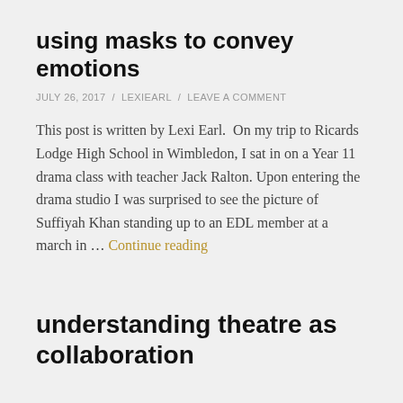using masks to convey emotions
JULY 26, 2017 / LEXIEARL / LEAVE A COMMENT
This post is written by Lexi Earl.  On my trip to Ricards Lodge High School in Wimbledon, I sat in on a Year 11 drama class with teacher Jack Ralton. Upon entering the drama studio I was surprised to see the picture of Suffiyah Khan standing up to an EDL member at a march in … Continue reading
understanding theatre as collaboration